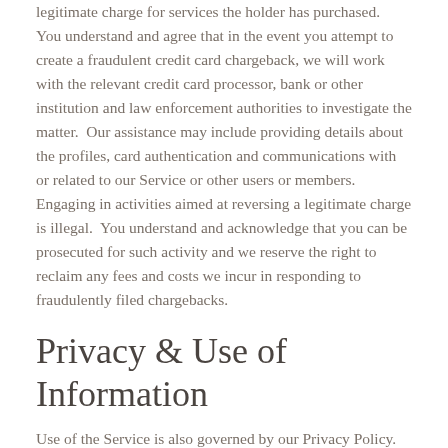legitimate charge for services the holder has purchased.  You understand and agree that in the event you attempt to create a fraudulent credit card chargeback, we will work with the relevant credit card processor, bank or other institution and law enforcement authorities to investigate the matter.  Our assistance may include providing details about the profiles, card authentication and communications with or related to our Service or other users or members.  Engaging in activities aimed at reversing a legitimate charge is illegal.  You understand and acknowledge that you can be prosecuted for such activity and we reserve the right to reclaim any fees and costs we incur in responding to fraudulently filed chargebacks.
Privacy & Use of Information
Use of the Service is also governed by our Privacy Policy. You agree that by registering a Profile or using our Service you have agreed to our Privacy Statement. You acknowledge that although we strive to maintain the necessary safeguards to